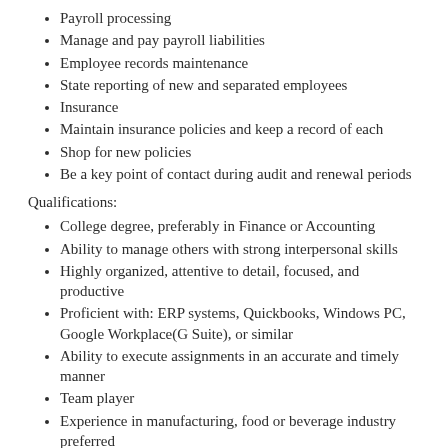Payroll processing
Manage and pay payroll liabilities
Employee records maintenance
State reporting of new and separated employees
Insurance
Maintain insurance policies and keep a record of each
Shop for new policies
Be a key point of contact during audit and renewal periods
Qualifications:
College degree, preferably in Finance or Accounting
Ability to manage others with strong interpersonal skills
Highly organized, attentive to detail, focused, and productive
Proficient with: ERP systems, Quickbooks, Windows PC, Google Workplace(G Suite), or similar
Ability to execute assignments in an accurate and timely manner
Team player
Experience in manufacturing, food or beverage industry preferred
Our Offer We offer our employees excellent working conditions, creative freedom, training programs and an attractive compensation package. Califormulations highly values